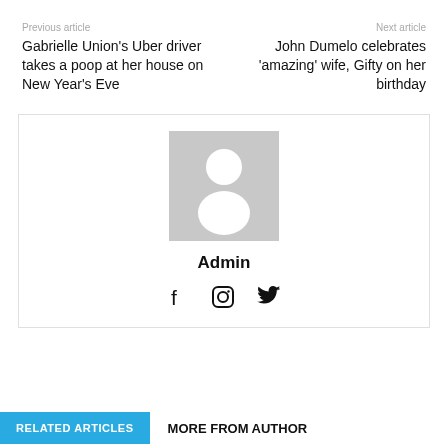Previous article
Gabrielle Union's Uber driver takes a poop at her house on New Year's Eve
Next article
John Dumelo celebrates 'amazing' wife, Gifty on her birthday
[Figure (illustration): Default avatar placeholder: grey square with white person silhouette]
Admin
[Figure (infographic): Social media icons: Facebook, Instagram, Twitter]
RELATED ARTICLES
MORE FROM AUTHOR